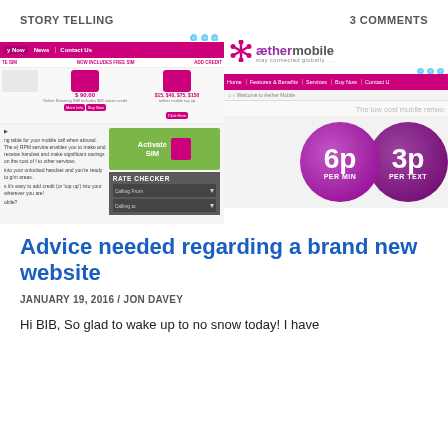STORY TELLING    3 COMMENTS
[Figure (screenshot): Two website screenshots side by side: left shows a mobile SIM product page with purple nav bar, products including $90.00 plan and $15/$40/$75/$180 credit options, Activate SIM widget, and Rate Checker; right shows Aether Mobile website with logo, purple nav bar, breadcrumb, tagline 'The low cost mobile netwo', and two overlapping purple circles showing '6p PER MIN' and '3p PER TEXT']
Advice needed regarding a brand new website
JANUARY 19, 2016 / JON DAVEY
Hi BIB, So glad to wake up to no snow today! I have